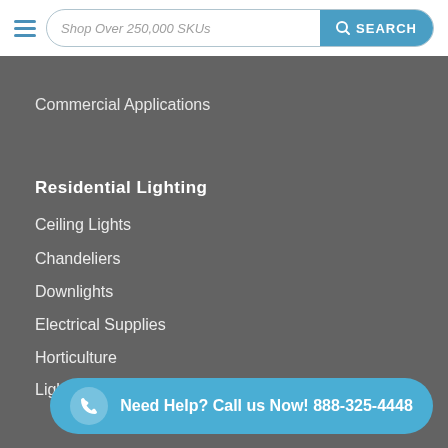Shop Over 250,000 SKUs  SEARCH
Commercial Applications
Residential Lighting
Ceiling Lights
Chandeliers
Downlights
Electrical Supplies
Horticulture
Light Bulbs
Porch Lights
Post Top Lights
Security Lights
Sp...
String Lights
Need Help? Call us Now! 888-325-4448